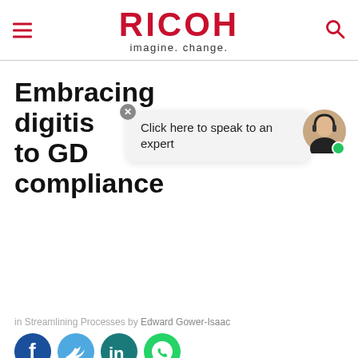RICOH imagine. change.
Embracing digitisation to GDPR compliance
[Figure (infographic): Chat popup overlay with text 'Click here to speak to an expert', close button, and avatar photo of a woman with headset and green online indicator dot.]
in Streamlining Processes by Edward Gower-Isaac
[Figure (infographic): Social media sharing icons: Facebook (dark blue), Twitter (light blue), LinkedIn (teal), WhatsApp (green)]
The shift away from inbound paper mail, and even email these days, is a